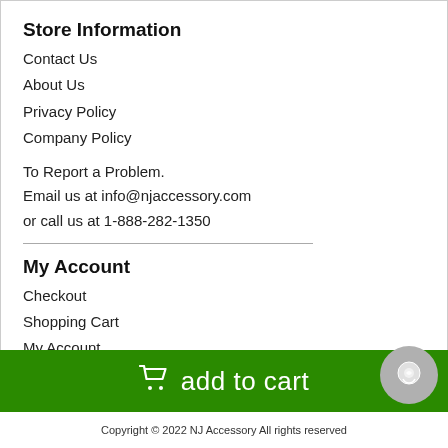Store Information
Contact Us
About Us
Privacy Policy
Company Policy
To Report a Problem.
Email us at info@njaccessory.com
or call us at 1-888-282-1350
My Account
Checkout
Shopping Cart
My Account
Support ID:
Page IP: 44.207.124.84
Send SMS Text
Payment Information
[Figure (other): Add to cart button bar with shopping cart icon and green background]
Copyright © 2022 NJ Accessory All rights reserved